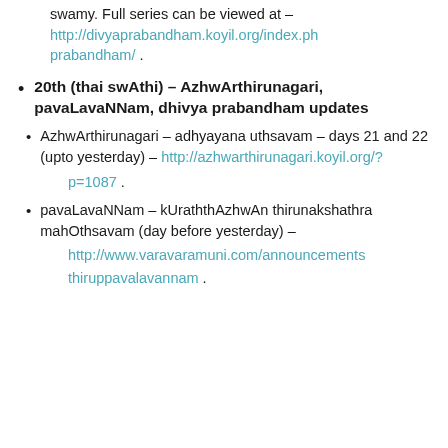swamy. Full series can be viewed at – http://divyaprabandham.koyil.org/index.ph prabandham/ .
20th (thai swAthi) – AzhwArthirunagari, pavaLavaNNam, dhivya prabandham updates
AzhwArthirunagari – adhyayana uthsavam – days 21 and 22 (upto yesterday) – http://azhwarthirunagari.koyil.org/?p=1087 .
pavaLavaNNam – kUraththAzhwAn thirunakshathra mahOthsavam (day before yesterday) – http://www.varavaramuni.com/announcements thiruppavalavannam .